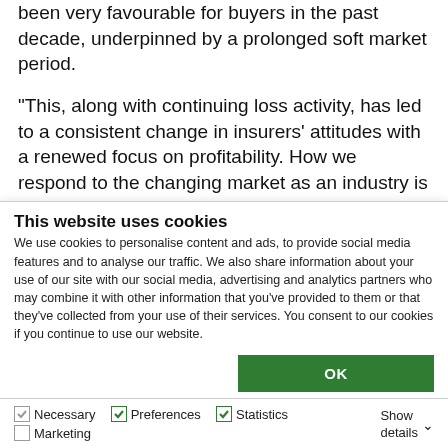been very favourable for buyers in the past decade, underpinned by a prolonged soft market period.
“This, along with continuing loss activity, has led to a consistent change in insurers’ attitudes with a renewed focus on profitability. How we respond to the changing market as an industry is critical.
“The market is firming, and buyers need to rethink their approach, ensuring there is an increased
This website uses cookies
We use cookies to personalise content and ads, to provide social media features and to analyse our traffic. We also share information about your use of our site with our social media, advertising and analytics partners who may combine it with other information that you’ve provided to them or that they’ve collected from your use of their services. You consent to our cookies if you continue to use our website.
OK
Necessary
Preferences
Statistics
Marketing
Show details